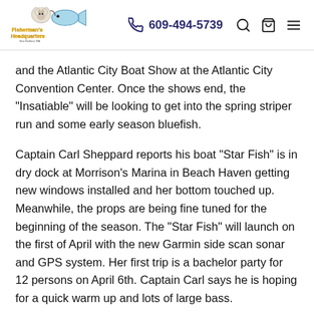Fisherman's Headquarters | 609-494-5739
and the Atlantic City Boat Show at the Atlantic City Convention Center. Once the shows end, the “Insatiable” will be looking to get into the spring striper run and some early season bluefish.
Captain Carl Sheppard reports his boat “Star Fish” is in dry dock at Morrison’s Marina in Beach Haven getting new windows installed and her bottom touched up. Meanwhile, the props are being fine tuned for the beginning of the season. The “Star Fish” will launch on the first of April with the new Garmin side scan sonar and GPS system. Her first trip is a bachelor party for 12 persons on April 6th. Captain Carl says he is hoping for a quick warm up and lots of large bass.